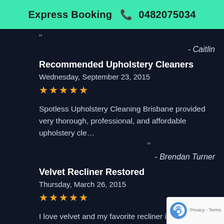Express Booking 📞 0482075034
"
- Caitlin
Recommended Upholstery Cleaners
Wednesday, September 23, 2015
★★★★★
Spotless Upholstery Cleaning Brisbane provided very thorough, professional, and affordable upholstery cle…
"
- Brendan Turner
Velvet Recliner Restored
Thursday, March 26, 2015
★★★★★
I love velvet and my favorite recliner is made of